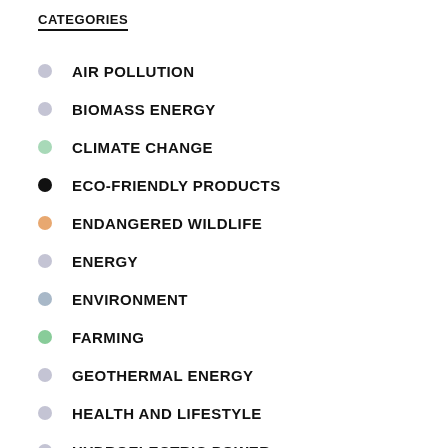CATEGORIES
AIR POLLUTION
BIOMASS ENERGY
CLIMATE CHANGE
ECO-FRIENDLY PRODUCTS
ENDANGERED WILDLIFE
ENERGY
ENVIRONMENT
FARMING
GEOTHERMAL ENERGY
HEALTH AND LIFESTYLE
HYDROELECTRIC POWER